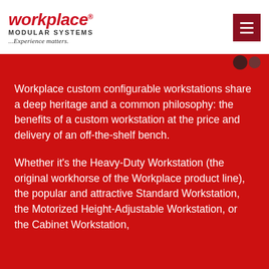[Figure (logo): Workplace Modular Systems logo with red italic 'workplace' text, 'MODULAR SYSTEMS' in dark uppercase, and tagline '...Experience matters.' in italic]
[Figure (other): Dark red hamburger menu button icon (three horizontal white lines) in top right corner]
Workplace custom configurable workstations share a deep heritage and a common philosophy: the benefits of a custom workstation at the price and delivery of an off-the-shelf bench.
Whether it's the Heavy-Duty Workstation (the original workhorse of the Workplace product line), the popular and attractive Standard Workstation, the Motorized Height-Adjustable Workstation, or the Cabinet Workstation,